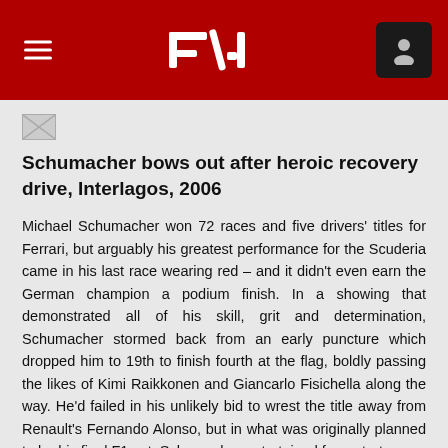F1 — Formula 1 navigation header
[Figure (photo): Small thumbnail image placeholder]
Schumacher bows out after heroic recovery drive, Interlagos, 2006
Michael Schumacher won 72 races and five drivers' titles for Ferrari, but arguably his greatest performance for the Scuderia came in his last race wearing red – and it didn't even earn the German champion a podium finish. In a showing that demonstrated all of his skill, grit and determination, Schumacher stormed back from an early puncture which dropped him to 19th to finish fourth at the flag, boldly passing the likes of Kimi Raikkonen and Giancarlo Fisichella along the way. He'd failed in his unlikely bid to wrest the title away from Renault's Fernando Alonso, but in what was originally planned to be his final F1 act, Schumacher entertained from start